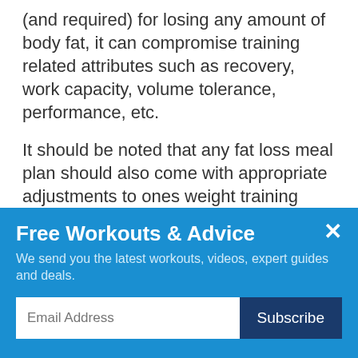(and required) for losing any amount of body fat, it can compromise training related attributes such as recovery, work capacity, volume tolerance, performance, etc.
It should be noted that any fat loss meal plan should also come with appropriate adjustments to ones weight training program such as reducing training volume (the total amount of sets, reps, and/or exercises being done), reducing training frequency (the total amount of exercises per muscle group), or a
Free Workouts & Advice
We send you the latest workouts, videos, expert guides and deals.